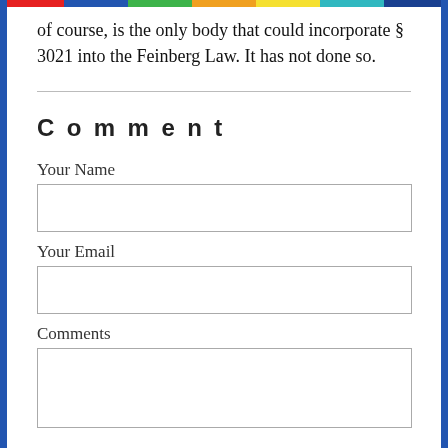of course, is the only body that could incorporate § 3021 into the Feinberg Law. It has not done so.
Comment
Your Name
Your Email
Comments